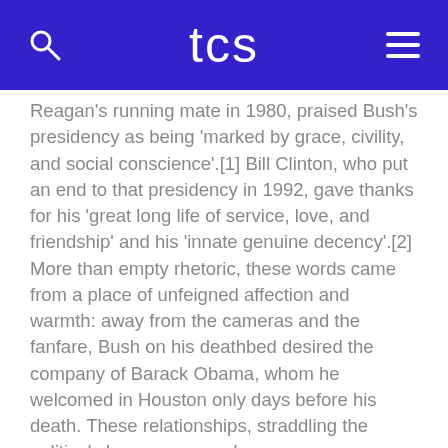tcs
Reagan's running mate in 1980, praised Bush's presidency as being 'marked by grace, civility, and social conscience'.[1] Bill Clinton, who put an end to that presidency in 1992, gave thanks for his 'great long life of service, love, and friendship' and his 'innate genuine decency'.[2] More than empty rhetoric, these words came from a place of unfeigned affection and warmth: away from the cameras and the fanfare, Bush on his deathbed desired the company of Barack Obama, whom he welcomed in Houston only days before his death. These relationships, straddling the political chasm, were real.
But even if they weren't, we all know that saying nice things about the recently deceased is basic decency. Michael Dukakis, whom Bush defeated in the 1988 election, never enjoyed a close personal relationship with the president; he always resented Bush for the infamous Willie Horton attack ad. 'Obviously we disagreed pretty strongly on domestic policy, and I wasn't thrilled with the kind of campaign he ran,' Dukakis said upon Bush's death.